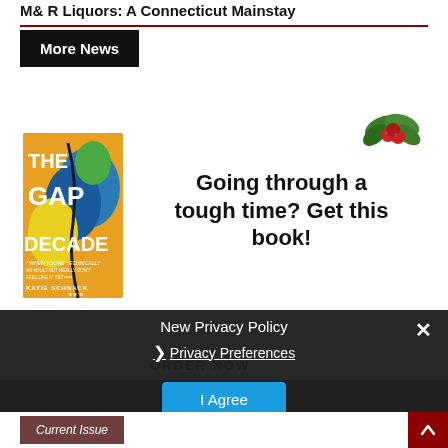M& R Liquors: A Connecticut Mainstay
More News
[Figure (illustration): Advertisement for 'The Gap Decade' book by Katie Schnack with text 'Going through a tough time? Get this book!' and holly decoration]
ORDER NOW
New Privacy Policy
Privacy Preferences
I Agree
Current Issue